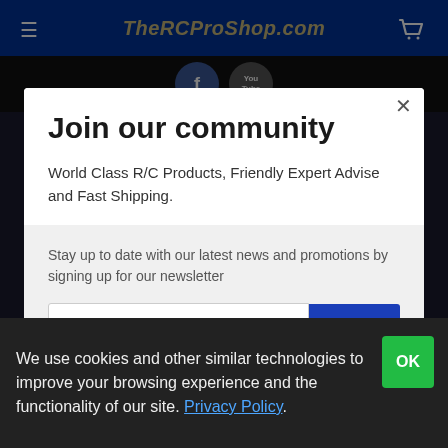TheRCProShop.com
Join our community
World Class R/C Products, Friendly Expert Advise and Fast Shipping.
Stay up to date with our latest news and promotions by signing up for our newsletter
We use cookies and other similar technologies to improve your browsing experience and the functionality of our site. Privacy Policy.